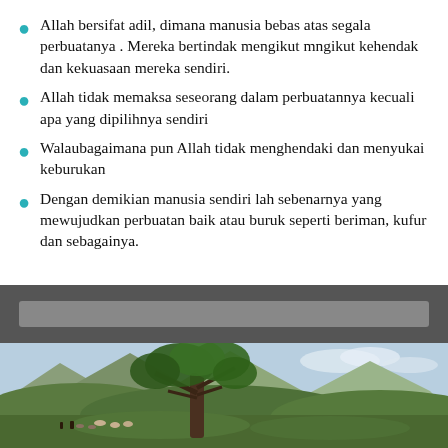Allah bersifat adil, dimana manusia bebas atas segala perbuatanya . Mereka bertindak mengikut mngikut kehendak dan kekuasaan mereka sendiri.
Allah tidak memaksa seseorang dalam perbuatannya kecuali apa yang dipilihnya sendiri
Walaubagaimana pun Allah tidak menghendaki dan menyukai keburukan
Dengan demikian manusia sendiri lah sebenarnya yang mewujudkan perbuatan baik atau buruk seperti beriman, kufur dan sebagainya.
[Figure (illustration): A classical landscape painting showing a large tree in the center foreground, rolling green hills, mountains in the background, and small figures with animals in the meadow.]